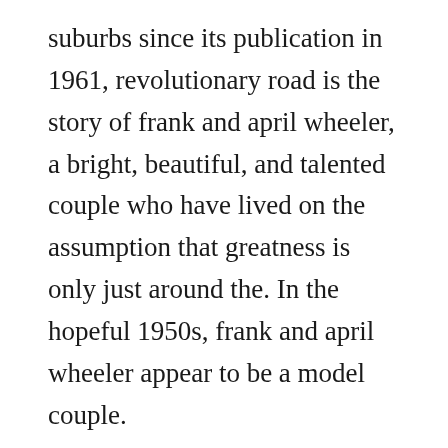suburbs since its publication in 1961, revolutionary road is the story of frank and april wheeler, a bright, beautiful, and talented couple who have lived on the assumption that greatness is only just around the. In the hopeful 1950s, frank and april wheeler appear to be a model couple.
Supersummary, a modern alternative to sparknotes and cliffsnotes, offers highquality study guides that feature detailed chapter summaries and analysis of major themes, characters, quotes, and essay topics. He is the